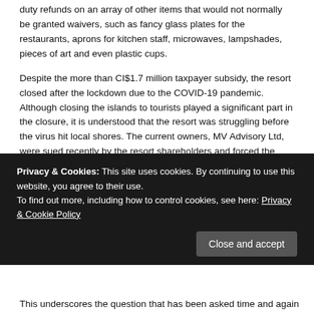duty refunds on an array of other items that would not normally be granted waivers, such as fancy glass plates for the restaurants, aprons for kitchen staff, microwaves, lampshades, pieces of art and even plastic cups.
Despite the more than CI$1.7 million taxpayer subsidy, the resort closed after the lockdown due to the COVID-19 pandemic. Although closing the islands to tourists played a significant part in the closure, it is understood that the resort was struggling before the virus hit local shores. The current owners, MV Advisory Ltd, were sued recently by the resort shareholders and forced the property into liquidation so that they could recover $1 million.
Prior to that, when workers at the resort attempted to access their pensions during the emergency withdrawal period last summer, they found that the resort had not been making the full mandatory payments required under the law.
Privacy & Cookies: This site uses cookies. By continuing to use this website, you agree to their use.
To find out more, including how to control cookies, see here: Privacy & Cookie Policy
This underscores the question that has been asked time and again